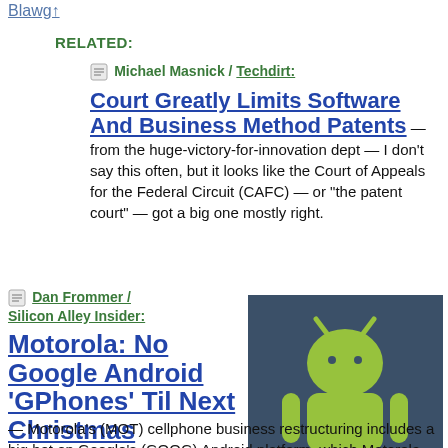Blawg↑
RELATED:
📄 Michael Masnick / Techdirt:
Court Greatly Limits Software And Business Method Patents
— from the huge-victory-for-innovation dept — I don't say this often, but it looks like the Court of Appeals for the Federal Circuit (CAFC) — or "the patent court" — got a big one mostly right.
📄 Dan Frommer / Silicon Alley Insider:
Motorola: No Google Android 'GPhones' Til Next Christmas
[Figure (logo): Android robot logo on dark blue/teal background with 'android' text at bottom]
— Motorola's (MOT) cellphone business restructuring includes a big bet on Google's (GOOG) Android platform, which Motorola hopes to use for several high-end